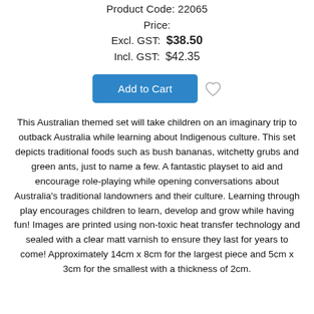Product Code: 22065
Price:
Excl. GST:  $38.50
Incl. GST:  $42.35
[Figure (other): Blue 'Add to Cart' button with heart/wishlist icon]
This Australian themed set will take children on an imaginary trip to outback Australia while learning about Indigenous culture. This set depicts traditional foods such as bush bananas, witchetty grubs and green ants, just to name a few. A fantastic playset to aid and encourage role-playing while opening conversations about Australia's traditional landowners and their culture. Learning through play encourages children to learn, develop and grow while having fun! Images are printed using non-toxic heat transfer technology and sealed with a clear matt varnish to ensure they last for years to come! Approximately 14cm x 8cm for the largest piece and 5cm x 3cm for the smallest with a thickness of 2cm.